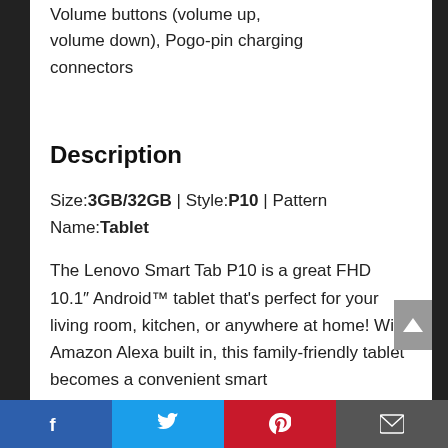Volume buttons (volume up, volume down), Pogo-pin charging connectors
Description
Size: 3GB/32GB | Style: P10 | Pattern Name: Tablet
The Lenovo Smart Tab P10 is a great FHD 10.1″ Android™ tablet that's perfect for your living room, kitchen, or anywhere at home! With Amazon Alexa built in, this family-friendly tablet becomes a convenient smart